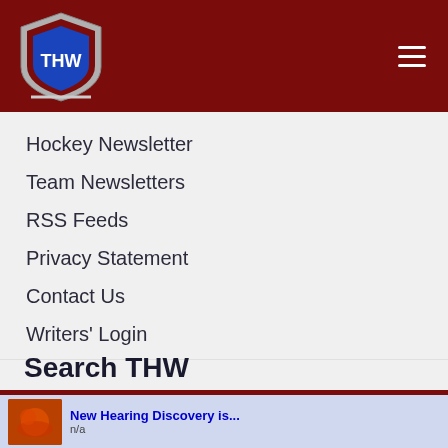THW Hockey Writers
Hockey Newsletter
Team Newsletters
RSS Feeds
Privacy Statement
Contact Us
Writers' Login
Search THW
[Figure (screenshot): Search bar with dark red background and blue search button]
[Figure (infographic): Ad banner: New Hearing Discovery is... n/a with arrow button]